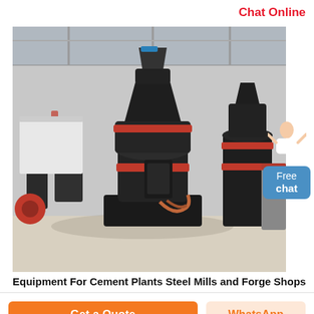Chat Online
[Figure (photo): Industrial grinding mill equipment inside a factory/warehouse. Large black cylindrical Raymond-type mill machines with red accent rings in foreground, additional mill units visible in background. Concrete floor, metal roof structure visible.]
Equipment For Cement Plants Steel Mills and Forge Shops
Get a Quote
WhatsApp